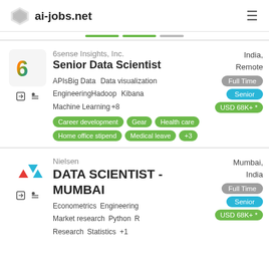ai-jobs.net
6sense Insights, Inc. | Senior Data Scientist | India, Remote | Full Time | Senior | USD 68K+ * | APIs Big Data Data visualization Engineering Hadoop Kibana Machine Learning +8 | Career development Gear Health care Home office stipend Medical leave +3
Nielsen | DATA SCIENTIST - MUMBAI | Mumbai, India | Full Time | Senior | USD 68K+ * | Econometrics Engineering Market research Python R Research Statistics +1